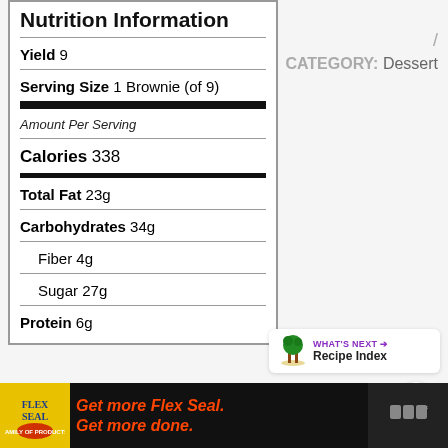Nutrition Information
| Yield | 9 |
| Serving Size | 1 Brownie (of 9) |
| Amount Per Serving |  |
| Calories | 338 |
| Total Fat | 23g |
| Carbohydrates | 34g |
| Fiber | 4g |
| Sugar | 27g |
| Protein | 6g |
CATEGORY: Dessert
[Figure (other): Heart favorite button (purple circle with heart icon)]
[Figure (other): Share button (white circle with share icon)]
[Figure (other): What's Next - Recipe Index promotional box]
[Figure (other): Flex Seal advertisement banner - Get more Flex Seal. Get more done.]